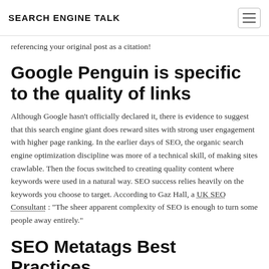SEARCH ENGINE TALK
referencing your original post as a citation!
Google Penguin is specific to the quality of links
Although Google hasn’t officially declared it, there is evidence to suggest that this search engine giant does reward sites with strong user engagement with higher page ranking. In the earlier days of SEO, the organic search engine optimization discipline was more of a technical skill, of making sites crawlable. Then the focus switched to creating quality content where keywords were used in a natural way. SEO success relies heavily on the keywords you choose to target. According to Gaz Hall, a UK SEO Consultant : "The sheer apparent complexity of SEO is enough to turn some people away entirely."
SEO Metatags Best Practices